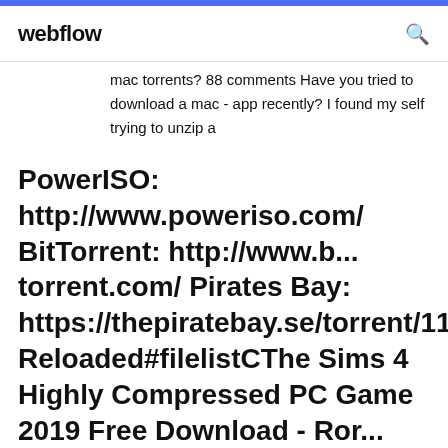webflow
mac torrents? 88 comments Have you tried to download a mac - app recently? I found my self trying to unzip a
PowerISO: http://www.poweriso.com/ BitTorrent: http://www.b... torrent.com/ Pirates Bay: https://thepiratebay.se/torrent/112475 Reloaded#filelistCThe Sims 4 Highly Compressed PC Game 2019 Free Download - Ror... https://rorpc.com/sims-4-highly-